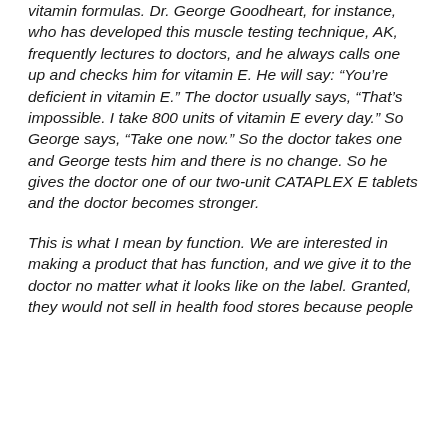vitamin formulas. Dr. George Goodheart, for instance, who has developed this muscle testing technique, AK, frequently lectures to doctors, and he always calls one up and checks him for vitamin E. He will say: “You’re deficient in vitamin E.” The doctor usually says, “That’s impossible. I take 800 units of vitamin E every day.” So George says, “Take one now.” So the doctor takes one and George tests him and there is no change. So he gives the doctor one of our two-unit CATAPLEX E tablets and the doctor becomes stronger.
This is what I mean by function. We are interested in making a product that has function, and we give it to the doctor no matter what it looks like on the label. Granted, they would not sell in health food stores because people